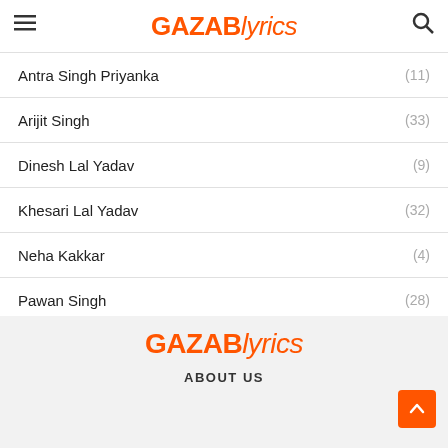GAZABlyrics
Antra Singh Priyanka (11)
Arijit Singh (33)
Dinesh Lal Yadav (9)
Khesari Lal Yadav (32)
Neha Kakkar (4)
Pawan Singh (28)
Priyanka Singh (21)
Ritesh Panday (15)
Tony Kakkar (2)
GAZABlyrics
ABOUT US